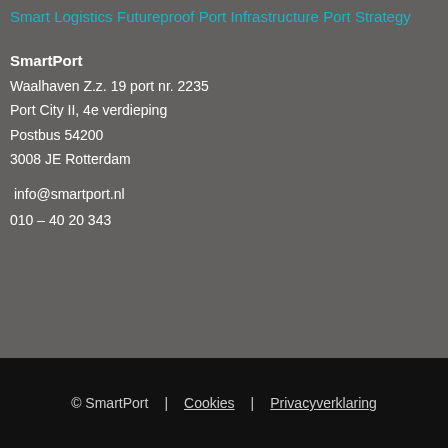Smart Logistics
Futureproof Port Infrastructure
Port Strategy
SmartPort
Waalhaven Z.z. 19 port nr. 2235
Port City II, 4e verdieping
Postbus 54200
3008 JE Rotterdam

info@smartport.nl
010 – 40 20 343
© SmartPort  |  Cookies  |  Privacyverklaring